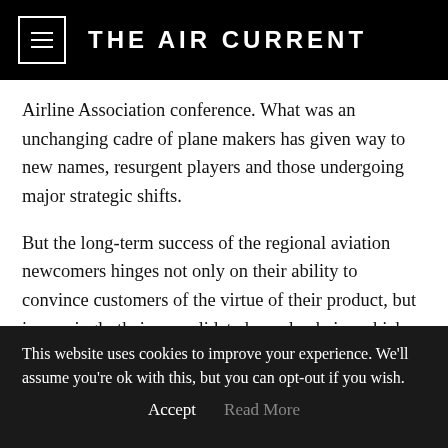THE AIR CURRENT
Airline Association conference. What was an unchanging cadre of plane makers has given way to new names, resurgent players and those undergoing major strategic shifts.
But the long-term success of the regional aviation newcomers hinges not only on their ability to convince customers of the virtue of their product, but increasingly their consolidated supply chains which tower over them. Today, both Mitsubishi Aircraft Corporation (Mitac) and
This website uses cookies to improve your experience. We'll assume you're ok with this, but you can opt-out if you wish.
Accept   Read More